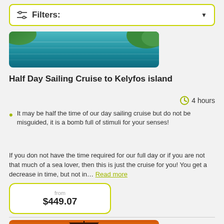Filters:
[Figure (photo): Aerial view of turquoise ocean with green tree foliage visible at edge]
Half Day Sailing Cruise to Kelyfos island
4 hours
It may be half the time of our day sailing cruise but do not be misguided, it is a bomb full of stimuli for your senses!
If you don not have the time required for our full day or if you are not that much of a sea lover, then this is just the cruise for you! You get a decrease in time, but not in... Read more
from $449.07
[Figure (photo): Cocktail drink with sunset in background, silhouette of person]